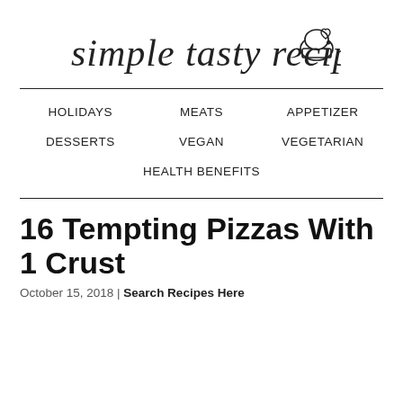simple tasty recipes
HOLIDAYS
MEATS
APPETIZER
DESSERTS
VEGAN
VEGETARIAN
HEALTH BENEFITS
16 Tempting Pizzas With 1 Crust
October 15, 2018 | Search Recipes Here